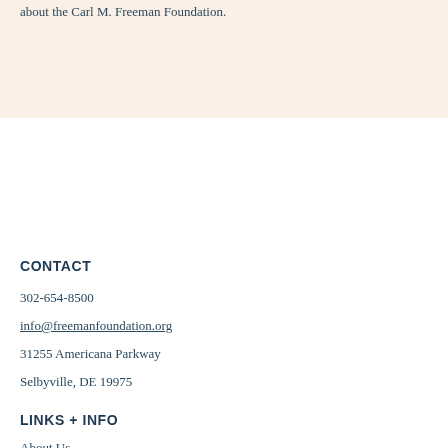about the Carl M. Freeman Foundation.
CONTACT
302-654-8500
info@freemanfoundation.org
31255 Americana Parkway
Selbyville, DE 19975
LINKS + INFO
About Us
Press & News
FAQs
Contact Us